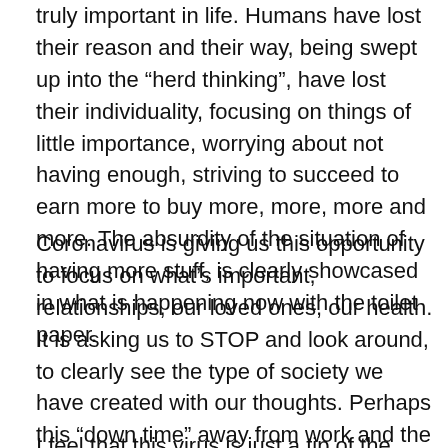truly important in life. Humans have lost their reason and their way, being swept up into the “herd thinking”, have lost their individuality, focusing on things of little importance, worrying about not having enough, striving to succeed to earn more to buy more, more, more and more. The absurdity of the situation of having more stuff, is clearly showcased in what is happening now with the toilet paper.
Coronavirus is giving us this opportunity to focus on what’s important, relationships, our loved ones, our health. It is asking us to STOP and look around, to clearly see the type of society we have created with our thoughts. Perhaps this “down time” away from work and the marathon of everyday “obsession with things” will help many to really look at their lives, connect with their families and most importantly their inner selves.
I feel that this virus is just a tip of the iceberg, it is here to